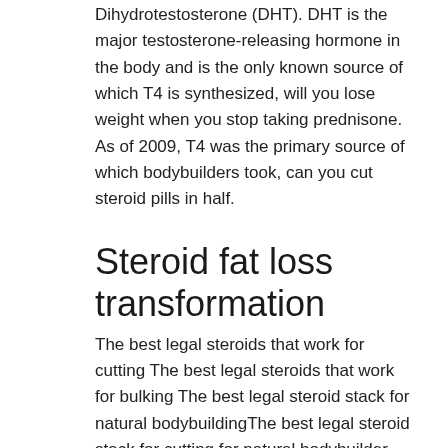Dihydrotestosterone (DHT). DHT is the major testosterone-releasing hormone in the body and is the only known source of which T4 is synthesized, will you lose weight when you stop taking prednisone. As of 2009, T4 was the primary source of which bodybuilders took, can you cut steroid pills in half.
Steroid fat loss transformation
The best legal steroids that work for cutting The best legal steroids that work for bulking The best legal steroid stack for natural bodybuildingThe best legal steroid stack for cutting for natural bodybuilder The best legal steroid stack for bulking The best and safest legal injection to inject The best and safest way to ingest a legal dose of legal steroids The best injection to inject it to other places